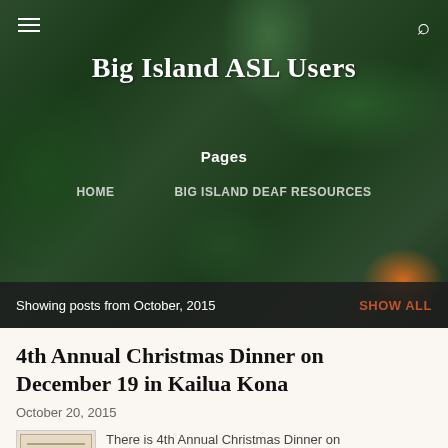[Figure (photo): Hero background image of tropical leaves in dark green tones with orange/red flower visible at right edge]
Big Island ASL Users
Pages
HOME    BIG ISLAND DEAF RESOURCES
Showing posts from October, 2015    SHOW ALL
4th Annual Christmas Dinner on December 19 in Kailua Kona
October 20, 2015
There is 4th Annual Christmas Dinner on